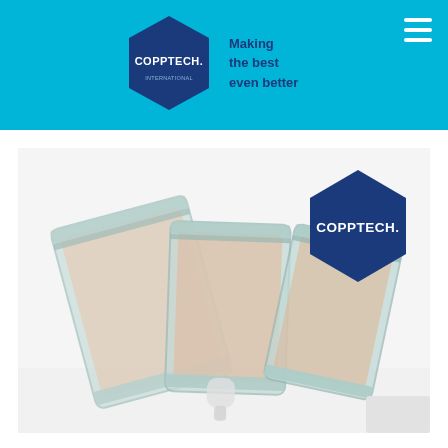COPPTECH. Making the best even better
[Figure (photo): Three sealed transparent plastic pouches/bags with pinkish/beige content inside, arranged overlapping on a white background, with a Copptech hexagon logo badge in the upper right of the photo.]